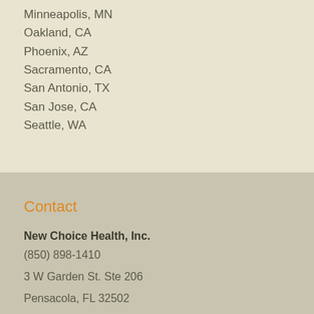Minneapolis, MN
Oakland, CA
Phoenix, AZ
Sacramento, CA
San Antonio, TX
San Jose, CA
Seattle, WA
Contact
New Choice Health, Inc.
(850) 898-1410
3 W Garden St. Ste 206
Pensacola, FL 32502